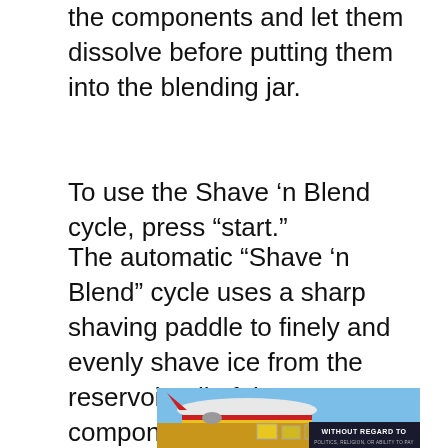the components and let them dissolve before putting them into the blending jar.
To use the Shave ‘n Blend cycle, press “start.”
The automatic “Shave ‘n Blend” cycle uses a sharp shaving paddle to finely and evenly shave ice from the reservoir. All of the components are pulverized by additional sharp blades in the blending jar.
[Figure (photo): Partial advertisement image showing an airplane being loaded with cargo, with a dark banner overlay reading WITHOUT REGARD TO in bold white text, and smaller text below.]